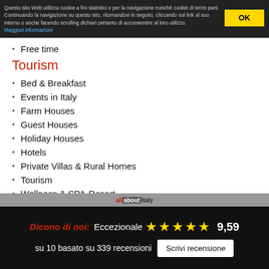Questo sito Web utilizza cookie a fini statistici e per la navigazione nonché cookie di terze parti. Continuando la navigazione su questo sito, ritornandovi in seguito, cliccando sul link al suo interno o anche facendo scrolling dichiari pertanto di acconsentire al loro utilizzo. Maggiori informazioni
Free time
Tourism
Bed & Breakfast
Events in Italy
Farm Houses
Guest Houses
Holiday Houses
Hotels
Private Villas & Rural Homes
Tourism
Wellness & SPA-Resort
Dicono di noi: Eccezionale ★★★★★ 9,59
su 10 basato su 339 recensioni  Scrivi recensione